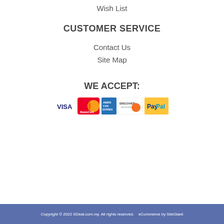Wish List
CUSTOMER SERVICE
Contact Us
Site Map
WE ACCEPT:
[Figure (logo): Payment method icons: VISA, MasterCard, American Express, Discover, PayPal]
Copyright © 2022 SDeal.com.my. All rights reserved.    eCommerce by SiteGiant